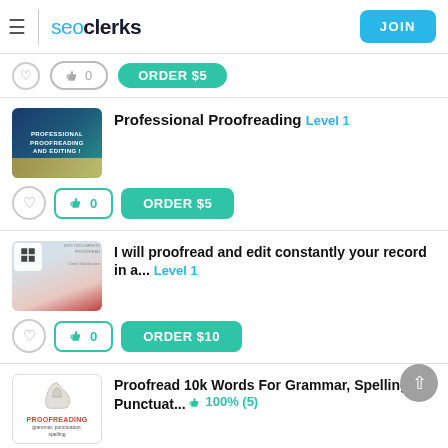seoclerks  JOIN
Professional Proofreading  Level 1  ORDER $5  👍 0
I will proofread and edit constantly your record in a...  Level 1  ORDER $10  👍 0
Proofread 10k Words For Grammar, Spelling, Punctuat...  👍 100% (5)  ORDER $5  👍 0
I will proofread and edit constantly of 1000...